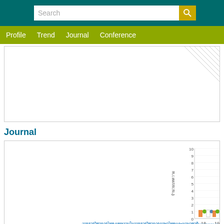Search
Profile  Trend  Journal  Conference
Journal
[Figure (continuous-plot): Partial chart visible showing a bar/scatter chart with Thai y-axis label (จำนวนบทความ) meaning 'number of articles', y-axis from 0 to 10, x-axis showing values 18 and 19, with colored data points (orange, green, blue) clustered near y=1. Thai text caption below chart.]